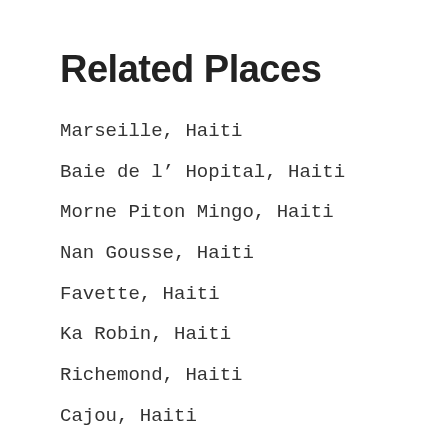Related Places
Marseille, Haiti
Baie de l’ Hopital, Haiti
Morne Piton Mingo, Haiti
Nan Gousse, Haiti
Favette, Haiti
Ka Robin, Haiti
Richemond, Haiti
Cajou, Haiti
Riviere Boutin, Haiti